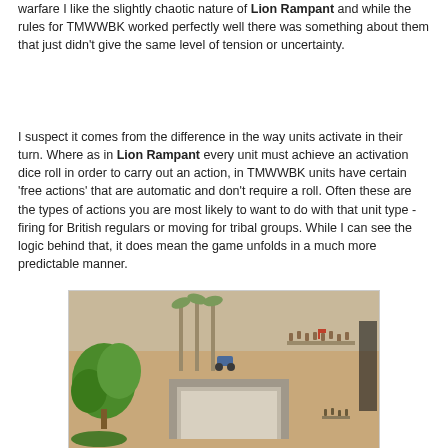warfare I like the slightly chaotic nature of Lion Rampant and while the rules for TMWWBK worked perfectly well there was something about them that just didn't give the same level of tension or uncertainty.
I suspect it comes from the difference in the way units activate in their turn. Where as in Lion Rampant every unit must achieve an activation dice roll in order to carry out an action, in TMWWBK units have certain 'free actions' that are automatic and don't require a roll. Often these are the types of actions you are most likely to want to do with that unit type - firing for British regulars or moving for tribal groups. While I can see the logic behind that, it does mean the game unfolds in a much more predictable manner.
[Figure (photo): Miniature wargame table showing colonial-era painted figures on a sandy terrain board, with green tree scenery on the left and a grey stone building/fort structure in the center foreground.]